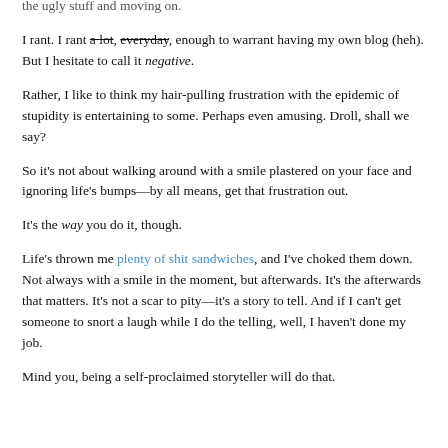the ugly stuff and moving on.
I rant. I rant a lot, everyday, enough to warrant having my own blog (heh). But I hesitate to call it negative.
Rather, I like to think my hair-pulling frustration with the epidemic of stupidity is entertaining to some. Perhaps even amusing. Droll, shall we say?
So it's not about walking around with a smile plastered on your face and ignoring life's bumps—by all means, get that frustration out.
It's the way you do it, though.
Life's thrown me plenty of shit sandwiches, and I've choked them down. Not always with a smile in the moment, but afterwards. It's the afterwards that matters. It's not a scar to pity—it's a story to tell. And if I can't get someone to snort a laugh while I do the telling, well, I haven't done my job.
Mind you, being a self-proclaimed storyteller will do that.